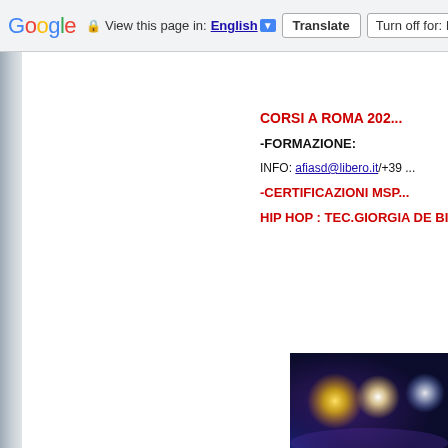Google  View this page in: English [▼]  Translate  Turn off for: It...
[Figure (photo): Left side blurred background image strip]
CORSI A ROMA 202...
-FORMAZIONE:
INFO: afiasd@libero.it/+39 ...
-CERTIFICAZIONI MSP...
HIP HOP : TEC.GIORGIA DE BIASE...
[Figure (photo): Stage lights photo with blue and yellow spotlight effects]